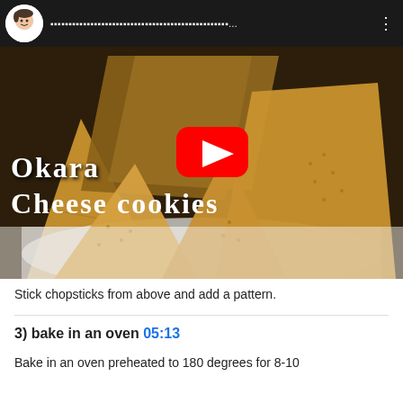[Figure (screenshot): YouTube video player showing a thumbnail of Okara Cheese Cookies — triangular golden-brown cookies on a white plate. The video top bar is dark/black with a circular channel icon (illustrated face) on the left, Japanese title text in the middle, and a three-dot menu on the right. A red YouTube play button is centered on the thumbnail. White text overlay reads 'Okara Cheese cookies'.]
Stick chopsticks from above and add a pattern.
3) bake in an oven 05:13
Bake in an oven preheated to 180 degrees for 8-10